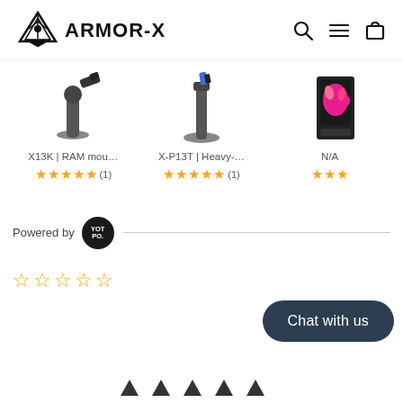ARMOR-X
[Figure (screenshot): Three product cards with images (X13K RAM mount, X-P13T Heavy-duty mount, N/A product), each with star ratings. X13K and X-P13T have 5 stars with (1) review, N/A has 3 stars partial.]
[Figure (logo): Yotpo logo badge - circular black badge with YOT PO. text, followed by horizontal line. Powered by label.]
[Figure (other): Five empty/outline star rating symbols in yellow/gold color]
[Figure (other): Chat with us button - dark navy rounded pill button at bottom right]
[Figure (other): Row of small arrow/chevron icons at very bottom of page]